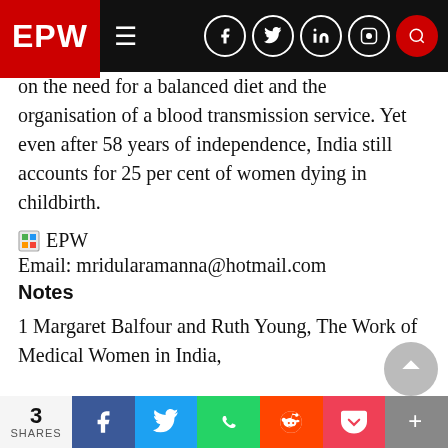EPW — navigation bar with social icons
on the need for a balanced diet and the organisation of a blood transmission service. Yet even after 58 years of independence, India still accounts for 25 per cent of women dying in childbirth.
EPW
Email: mridularamanna@hotmail.com
Notes
1 Margaret Balfour and Ruth Young, The Work of Medical Women in India,

Bombay, 1929, p 35.
2 Mridula Ramanna, 'Gauging Indian Response...
3 SHARES — Facebook, Twitter, WhatsApp, Reddit, Pocket, More